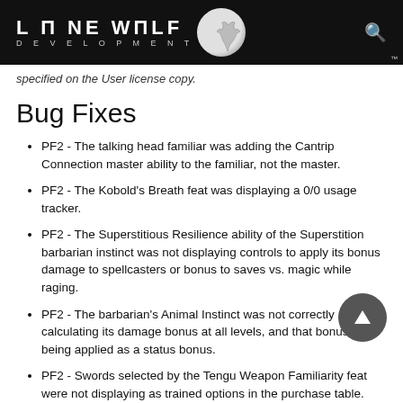LONE WOLF DEVELOPMENT
specified on the User license copy.
Bug Fixes
PF2 - The talking head familiar was adding the Cantrip Connection master ability to the familiar, not the master.
PF2 - The Kobold's Breath feat was displaying a 0/0 usage tracker.
PF2 - The Superstitious Resilience ability of the Superstition barbarian instinct was not displaying controls to apply its bonus damage to spellcasters or bonus to saves vs. magic while raging.
PF2 - The barbarian's Animal Instinct was not correctly calculating its damage bonus at all levels, and that bonus was being applied as a status bonus.
PF2 - Swords selected by the Tengu Weapon Familiarity feat were not displaying as trained options in the purchase table.
PF2 - Some ability-granted modifications were appearing in the Temporary Adjustments table instead